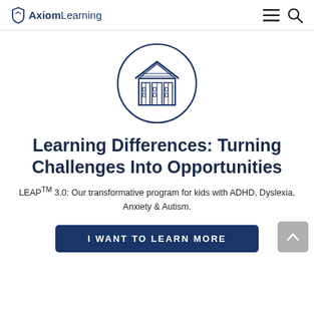AxiomLearning
[Figure (illustration): A circular outlined icon featuring a building/school with book-like columns, drawn in dark blue lines on white background, enclosed in a thin blue circle.]
Learning Differences: Turning Challenges Into Opportunities
LEAP™ 3.0: Our transformative program for kids with ADHD, Dyslexia, Anxiety & Autism.
I WANT TO LEARN MORE